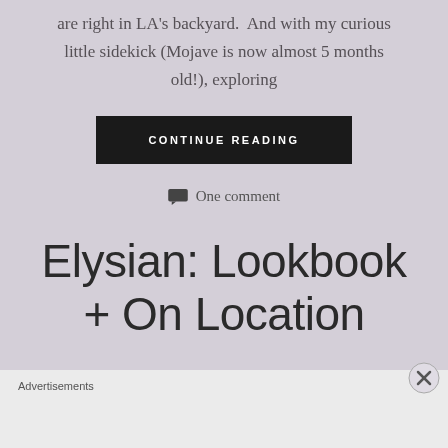are right in LA's backyard.  And with my curious little sidekick (Mojave is now almost 5 months old!), exploring
CONTINUE READING
One comment
Elysian: Lookbook + On Location
Advertisements